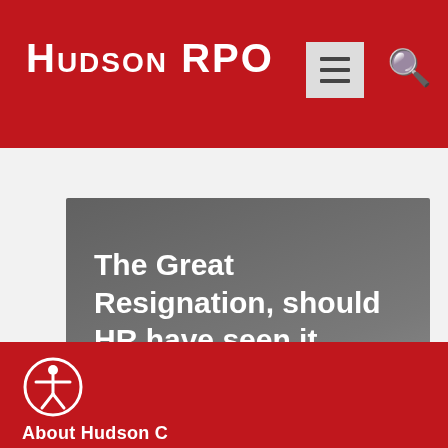Hudson RPO
[Figure (screenshot): Hudson RPO website header with red diagonal banner containing 'Hudson RPO' logo in white, hamburger menu icon in grey box, and search icon]
The Great Resignation, should HR have seen it coming?
Learn more >
[Figure (infographic): Carousel navigation dots: 8 circles, first filled red and the rest outlined in red]
Accessibility icon and partial footer text